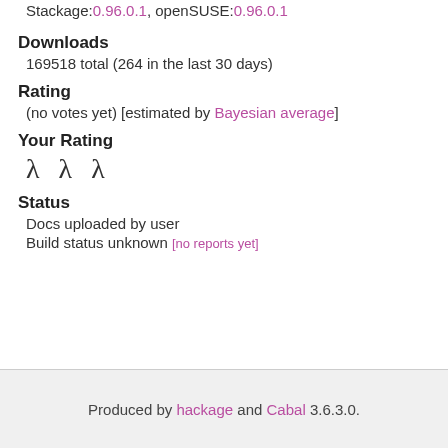Stackage:0.96.0.1, openSUSE:0.96.0.1
Downloads
169518 total (264 in the last 30 days)
Rating
(no votes yet) [estimated by Bayesian average]
Your Rating
λ λ λ
Status
Docs uploaded by user
Build status unknown [no reports yet]
Produced by hackage and Cabal 3.6.3.0.